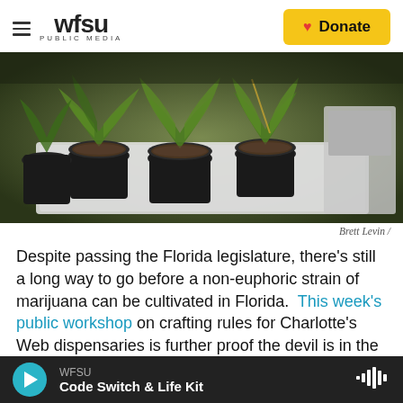WFSU PUBLIC MEDIA | Donate
[Figure (photo): Potted marijuana plants in black pots on a white tray under indoor growing conditions]
Brett Levin /
Despite passing the Florida legislature, there's still a long way to go before a non-euphoric strain of marijuana can be cultivated in Florida. This week's public workshop on crafting rules for Charlotte's Web dispensaries is further proof the devil is in the details.
WFSU | Code Switch & Life Kit